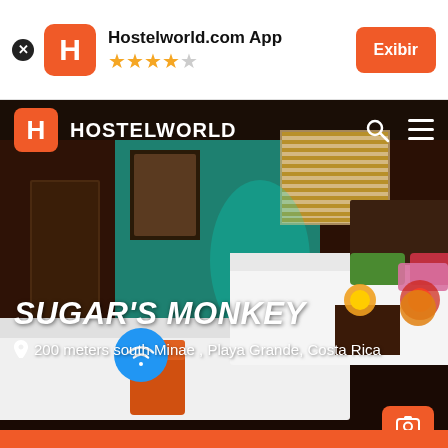Hostelworld.com App ★★★★☆ Exibir
[Figure (screenshot): Hostelworld app screenshot showing a hostel room with two beds, teal/green walls, wooden accents, warm lamps, and colorful pillows. The room has a tropical lodge feel.]
SUGAR'S MONKEY
200 meters south Minae , Playa Grande, Costa Rica